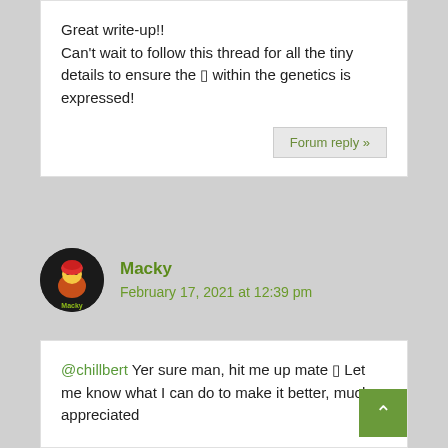Great write-up!! Can't wait to follow this thread for all the tiny details to ensure the 🌿 within the genetics is expressed!
Forum reply »
Macky
February 17, 2021 at 12:39 pm
@chillbert Yer sure man, hit me up mate 🤙 Let me know what I can do to make it better, much appreciated